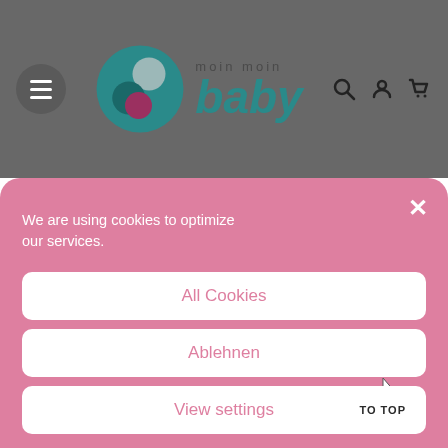[Figure (logo): moin moin baby logo with teal baby face circle and text]
We are using cookies to optimize our services.
All Cookies
Ablehnen
View settings
TO TOP
Privacy Policy